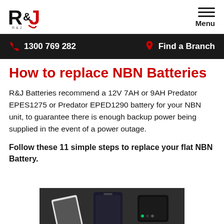[Figure (logo): R&J Batteries logo — stylized R&J letters in black and red]
Menu
1300 769 282  Find a Branch
How to replace NBN Batteries
R&J Batteries recommend a 12V 7AH or 9AH Predator EPES1275 or Predator EPED1290 battery for your NBN unit, to guarantee there is enough backup power being supplied in the event of a power outage.
Follow these 11 simple steps to replace your flat NBN Battery.
[Figure (photo): Dark background image showing mobile phones / NBN devices at the bottom of the page]